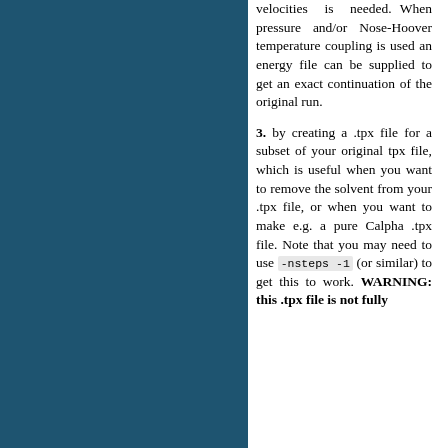velocities is needed. When pressure and/or Nose-Hoover temperature coupling is used an energy file can be supplied to get an exact continuation of the original run.
3. by creating a .tpx file for a subset of your original tpx file, which is useful when you want to remove the solvent from your .tpx file, or when you want to make e.g. a pure Calpha .tpx file. Note that you may need to use -nsteps -1 (or similar) to get this to work. WARNING: this .tpx file is not fully